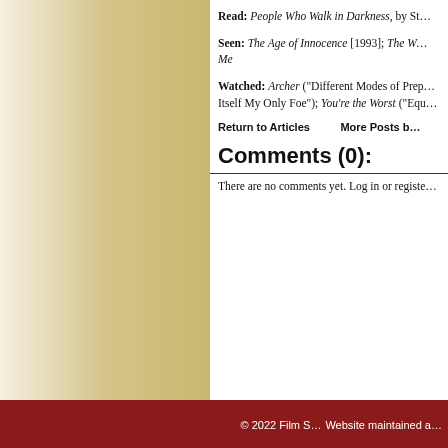Read: People Who Walk in Darkness, by St…
Seen: The Age of Innocence [1993]; The W… Me
Watched: Archer ("Different Modes of Prep…Itself My Only Foe"); You're the Worst ("Equ…
Return to Articles    More Posts b…
Comments (0):
There are no comments yet. Log in or registe…
© 2022 Film S…
Website maintained a…